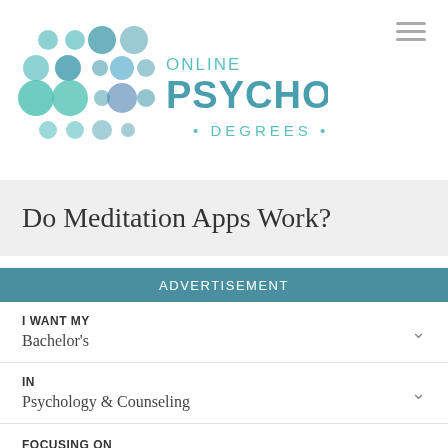[Figure (logo): Online Psychology Degrees logo — teal and blue dot matrix pattern with text ONLINE PSYCHOLOGY DEGREES]
Do Meditation Apps Work?
ADVERTISEMENT
I WANT MY
Bachelor's
IN
Psychology & Counseling
FOCUSING ON